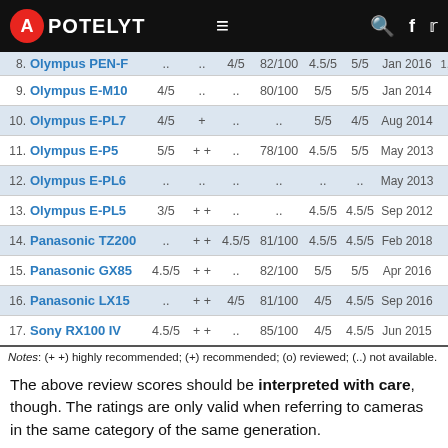APOTELYT
| # | Camera | Rating | Rec | Col1 | Score | Col2 | Col3 | Date | Num |
| --- | --- | --- | --- | --- | --- | --- | --- | --- | --- |
| 8. | Olympus PEN-F | .. | .. | 4/5 | 82/100 | 4.5/5 | 5/5 | Jan 2016 | 1,1.. |
| 9. | Olympus E-M10 | 4/5 | .. | .. | 80/100 | 5/5 | 5/5 | Jan 2014 | 69 |
| 10. | Olympus E-PL7 | 4/5 | + | .. | .. | 5/5 | 4/5 | Aug 2014 | 59 |
| 11. | Olympus E-P5 | 5/5 | ++ | .. | 78/100 | 4.5/5 | 5/5 | May 2013 | 99 |
| 12. | Olympus E-PL6 | .. | .. | .. | .. | .. | .. | May 2013 | 59 |
| 13. | Olympus E-PL5 | 3/5 | ++ | .. | .. | 4.5/5 | 4.5/5 | Sep 2012 | 59 |
| 14. | Panasonic TZ200 | .. | ++ | 4.5/5 | 81/100 | 4.5/5 | 4.5/5 | Feb 2018 | 79 |
| 15. | Panasonic GX85 | 4.5/5 | ++ | .. | 82/100 | 5/5 | 5/5 | Apr 2016 | 79 |
| 16. | Panasonic LX15 | .. | ++ | 4/5 | 81/100 | 4/5 | 4.5/5 | Sep 2016 | 69 |
| 17. | Sony RX100 IV | 4.5/5 | ++ | .. | 85/100 | 4/5 | 4.5/5 | Jun 2015 | 99 |
Notes: (++) highly recommended; (+) recommended; (o) reviewed; (..) not available.
The above review scores should be interpreted with care, though. The ratings are only valid when referring to cameras in the same category of the same generation.